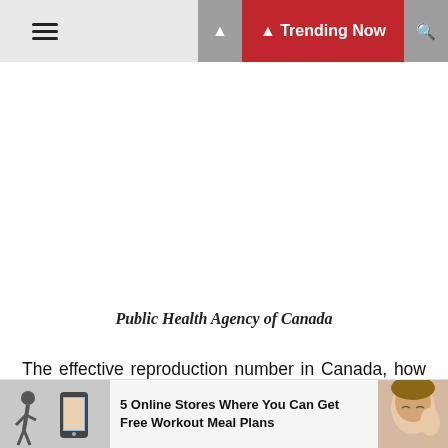≡   🔔 Trending Now 🔍
Public Health Agency of Canada
The effective reproduction number in Canada, how many people have been infected by each new case, has fluctuated above one recently, but remained fairly steady below one for the course of the last 10 weeks. Dr. Njoo indicated this number needs to consistently remain below one to indicate a slowdown of spread
5 Online Stores Where You Can Get Free Workout Meal Plans